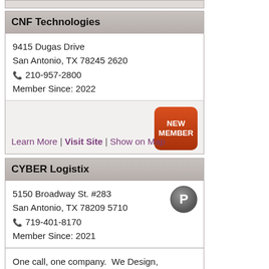CNF Technologies
9415 Dugas Drive
San Antonio, TX 78245 2620
☏ 210-957-2800
Member Since: 2022
[Figure (infographic): NEW MEMBER badge (red rounded rectangle) and links: Learn More | Visit Site | Show on Map]
CYBER Logistix
5150 Broadway St. #283
San Antonio, TX 78209 5710
☏ 719-401-8170
Member Since: 2021
One call, one company. We Design, Build, Install and Support Leading Technology Solutions with a Vendor